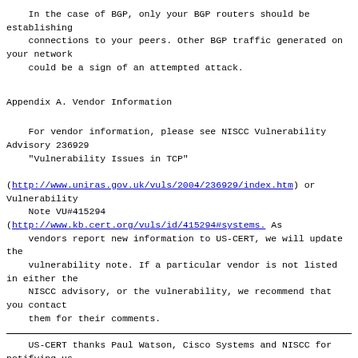In the case of BGP, only your BGP routers should be establishing
    connections to your peers. Other BGP traffic generated on your network
    could be a sign of an attempted attack.
Appendix A. Vendor Information
For vendor information, please see NISCC Vulnerability Advisory 236929
    "Vulnerability Issues in TCP"

(http://www.uniras.gov.uk/vuls/2004/236929/index.htm) or Vulnerability
    Note VU#415294
(http://www.kb.cert.org/vuls/id/415294#systems. As
    vendors report new information to US-CERT, we will update the
    vulnerability note. If a particular vendor is not listed in either the
    NISCC advisory, or the vulnerability, we recommend that you contact
    them for their comments.
US-CERT thanks Paul Watson, Cisco Systems and NISCC for notifying us
    about this problem and for helping us to construct